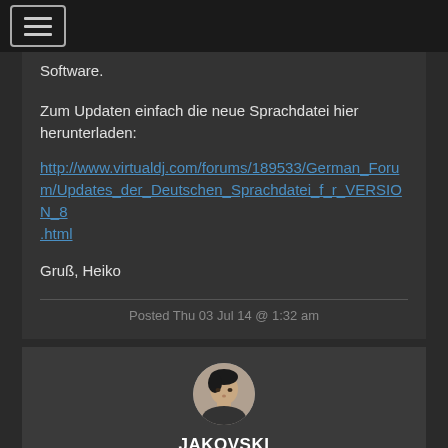[Figure (screenshot): Mobile app navigation menu button (hamburger icon) in top-left corner]
Software.
Zum Updaten einfach die neue Sprachdatei hier herunterladen:
http://www.virtualdj.com/forums/189533/German_Forum/Updates_der_Deutschen_Sprachdatei_f_r_VERSION_8.html
Gruß, Heiko
Posted Thu 03 Jul 14 @ 1:32 am
[Figure (photo): User avatar photo of Jakovski — a person facing slightly sideways]
JAKOVSKI